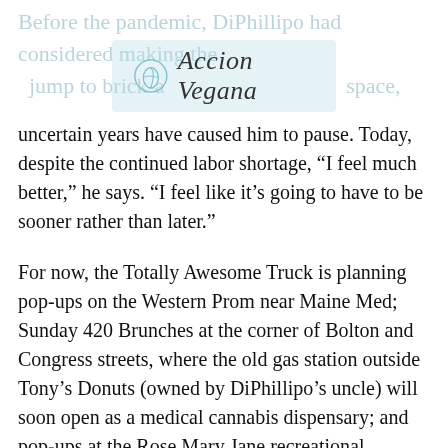Before the pandemic, DiPhillipo had considered making the jump to brick-and-mortar: more space, more staff and the ability to expand his menu. But the last two
[Figure (logo): Accion Vegana logo with leaf icon in a circle and italic text]
uncertain years have caused him to pause. Today, despite the continued labor shortage, “I feel much better,” he says. “I feel like it’s going to have to be sooner rather than later.”
For now, the Totally Awesome Truck is planning pop-ups on the Western Prom near Maine Med; Sunday 420 Brunches at the corner of Bolton and Congress streets, where the old gas station outside Tony’s Donuts (owned by DiPhillipo’s uncle) will soon open as a medical cannabis dispensary; and pop-ups at the Rose Mary Jane recreational cannabis store on St. John Street.
The Totally Awesome Vegan Food Truck is also set to sell food at events, including 4th of July at Bug Light Park and Art in the Park in South Portland; Woofstock at Kennebunk; and